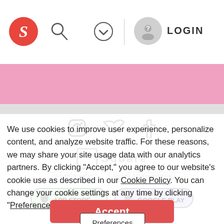[Figure (screenshot): Website header with red Sofar logo circle with S, search icon, check/dropdown icon, vertical divider, gray user avatar with question mark, and LOGIN text]
[Figure (screenshot): Pink banner/advertisement area]
[Figure (screenshot): Social media icons (Instagram, Twitter, Facebook) watermark overlay]
[Figure (screenshot): Square payment and secure badge watermarks in background]
We use cookies to improve user experience, personalize content, and analyze website traffic. For these reasons, we may share your site usage data with our analytics partners. By clicking “Accept,” you agree to our website’s cookie use as described in our Cookie Policy. You can change your cookie settings at any time by clicking “Preferences.”
[Figure (screenshot): App Store and Google Play download button watermarks]
[Figure (screenshot): Red Accept button]
Sell tickets  Contact  About  Blog  Developer  Terms & Conditions  Privacy Policy  Cookie Policy
[Figure (screenshot): Preferences button overlay]